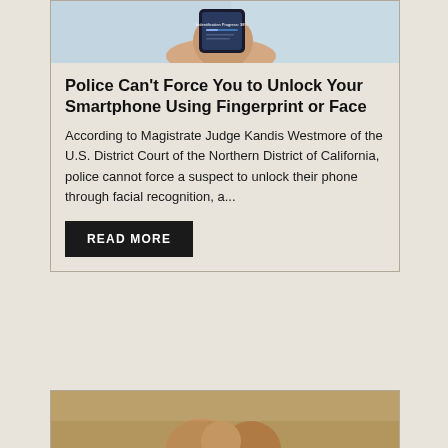[Figure (photo): Hand holding a smartphone with identification progress screen visible]
Police Can't Force You to Unlock Your Smartphone Using Fingerprint or Face
According to Magistrate Judge Kandis Westmore of the U.S. District Court of the Northern District of California, police cannot force a suspect to unlock their phone through facial recognition, a...
READ MORE
[Figure (photo): Hands in a close-up scene, partially visible at bottom of page]